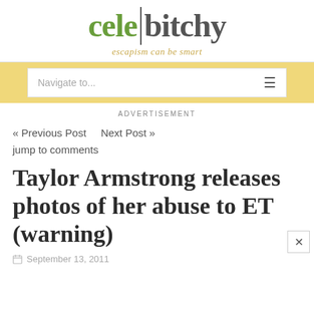celebitchy — escapism can be smart
Navigate to...
ADVERTISEMENT
« Previous Post   Next Post »
jump to comments
Taylor Armstrong releases photos of her abuse to ET (warning)
September 13, 2011